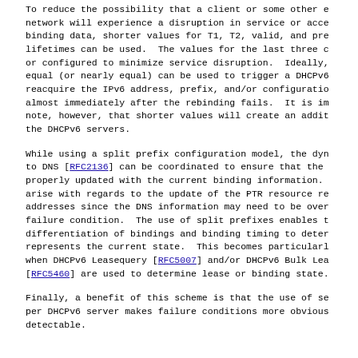To reduce the possibility that a client or some other entity on the network will experience a disruption in service or access to binding data, shorter values for T1, T2, valid, and preferred lifetimes can be used.  The values for the last three can be set or configured to minimize service disruption.  Ideally, a T2 equal (or nearly equal) can be used to trigger a DHCPv6 client to reacquire the IPv6 address, prefix, and/or configuration data almost immediately after the rebinding fails.  It is important to note, however, that shorter values will create an additional load on the DHCPv6 servers.
While using a split prefix configuration model, the dynamic update to DNS [RFC2136] can be coordinated to ensure that the DNS is properly updated with the current binding information.  Issues may arise with regards to the update of the PTR resource records for addresses since the DNS information may need to be overwritten on a failure condition.  The use of split prefixes enables the differentiation of bindings and binding timing to determine which represents the current state.  This becomes particularly important when DHCPv6 Leasequery [RFC5007] and/or DHCPv6 Bulk Leasequery [RFC5460] are used to determine lease or binding state.
Finally, a benefit of this scheme is that the use of separate prefixes per DHCPv6 server makes failure conditions more obvious and detectable.